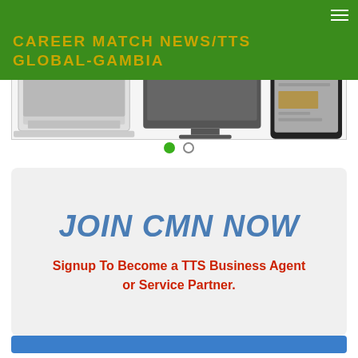CAREER MATCH NEWS/TTS GLOBAL-GAMBIA
[Figure (illustration): Devices hero image showing laptop, monitor, and tablet on white background]
[Figure (infographic): Carousel navigation dots: one filled green, one empty circle]
JOIN CMN NOW
Signup To Become a TTS Business Agent or Service Partner.